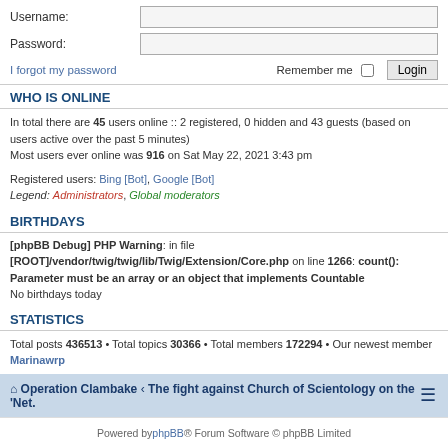Username:
Password:
I forgot my password
Remember me   Login
WHO IS ONLINE
In total there are 45 users online :: 2 registered, 0 hidden and 43 guests (based on users active over the past 5 minutes)
Most users ever online was 916 on Sat May 22, 2021 3:43 pm
Registered users: Bing [Bot], Google [Bot]
Legend: Administrators, Global moderators
BIRTHDAYS
[phpBB Debug] PHP Warning: in file [ROOT]/vendor/twig/twig/lib/Twig/Extension/Core.php on line 1266: count(): Parameter must be an array or an object that implements Countable
No birthdays today
STATISTICS
Total posts 436513 • Total topics 30366 • Total members 172294 • Our newest member Marinawrp
Operation Clambake · The fight against Church of Scientology on the 'Net.
Powered by phpBB® Forum Software © phpBB Limited